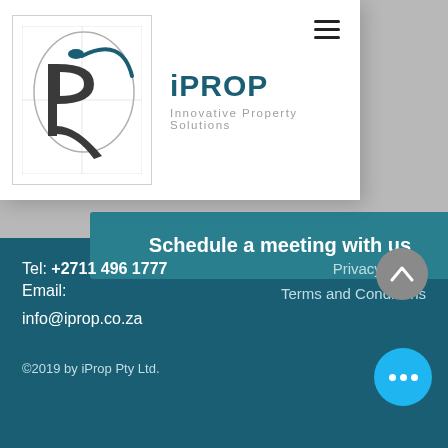[Figure (logo): iPROP logo — stylized letter P with arc and dot, inside a bordered box]
iPROP
Innovative Property Solutions
Schedule a meeting with us
Tel: +2711 496 1777
Email:
info@iprop.co.za
Privacy Policy
Terms and Conditions
©2019 by iProp Pty Ltd.
Legal